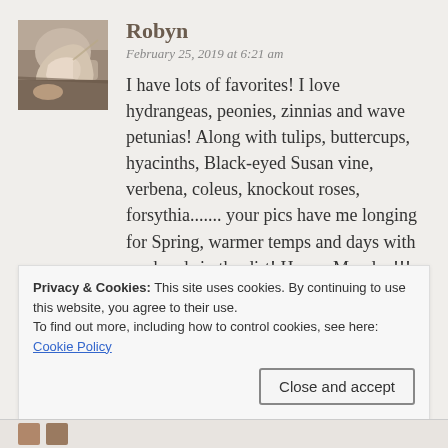[Figure (photo): Avatar photo of commenter Robyn — a person's hand/arm visible, warm tones, square thumbnail]
Robyn
February 25, 2019 at 6:21 am
I have lots of favorites! I love hydrangeas, peonies, zinnias and wave petunias! Along with tulips, buttercups, hyacinths, Black-eyed Susan vine, verbena, coleus, knockout roses, forsythia....... your pics have me longing for Spring, warmer temps and days with my hands in the dirt! Happy Monday!!!
Privacy & Cookies: This site uses cookies. By continuing to use this website, you agree to their use.
To find out more, including how to control cookies, see here:
Cookie Policy
Close and accept